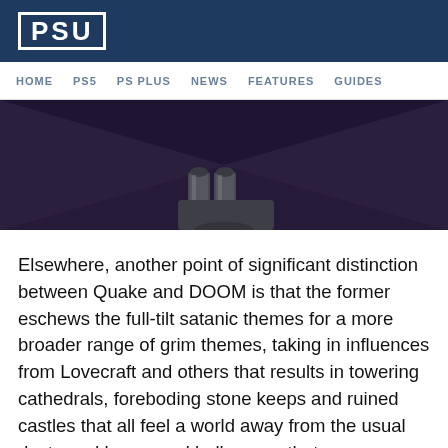PSU
HOME  PS5  PS PLUS  NEWS  FEATURES  GUIDES
[Figure (screenshot): Dark video game screenshot showing a first-person view with a double-barreled weapon visible at the bottom center, dark purple/blue stone floor and ceiling environment from Quake]
Elsewhere, another point of significant distinction between Quake and DOOM is that the former eschews the full-tilt satanic themes for a more broader range of grim themes, taking in influences from Lovecraft and others that results in towering cathedrals, foreboding stone keeps and ruined castles that all feel a world away from the usual destroyed bases and hellscapes that characterised DOOM. Sure enough, Quake